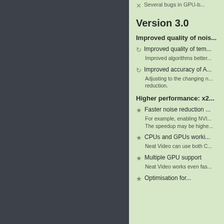Several bugs in GPU-b...
Version 3.0
Improved quality of nois...
Improved quality of tem... Improved algorithms better...
Improved accuracy of A... Adjusting to the changing n... reduction.
Higher performance: x2...
Faster noise reduction ... For example, enabling NVI... The speedup may be highe...
CPUs and GPUs worki... Neat Video can use both C...
Multiple GPU support Neat Video works even fas...
Optimisation for...